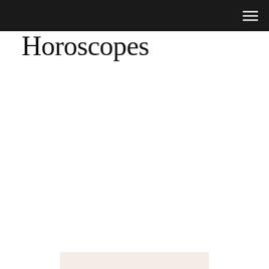Horoscopes
[Figure (other): Light pinkish-beige rectangular advertisement placeholder block]
CATEGORY MENU
[Figure (photo): Partial sepia-toned photograph of trees and foliage visible at bottom of page]